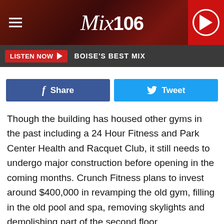Mix 106 — LISTEN NOW — BOISE'S BEST MIX
[Figure (screenshot): Mix 106 radio station website header with dark red textured background, hamburger menu icon on left, Mix106 logo in center, and red play button circle on right]
LISTEN NOW ▶   BOISE'S BEST MIX
Share   Tweet
Though the building has housed other gyms in the past including a 24 Hour Fitness and Park Center Health and Racquet Club, it still needs to undergo major construction before opening in the coming months. Crunch Fitness plans to invest around $400,000 in revamping the old gym, filling in the old pool and spa, removing skylights and demolishing part of the second floor.
The project is a huge undertaking, but should definitely improve the view from Parkcenter and the surrounding East